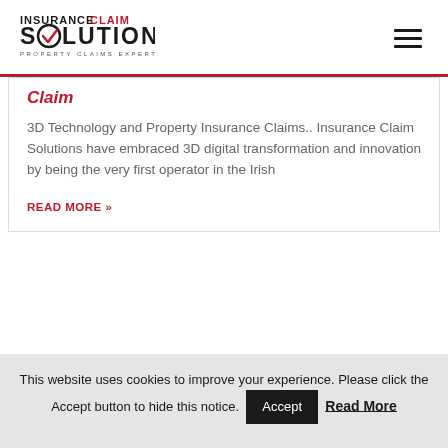[Figure (logo): Insurance Claim Solutions - Property Claims Experts logo with red checkmark in the O of Solutions]
Claim
3D Technology and Property Insurance Claims.. Insurance Claim Solutions have embraced 3D digital transformation and innovation by being the very first operator in the Irish
READ MORE »
This website uses cookies to improve your experience. Please click the Accept button to hide this notice. Accept Read More